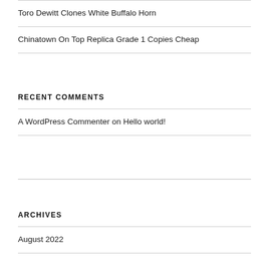Toro Dewitt Clones White Buffalo Horn
Chinatown On Top Replica Grade 1 Copies Cheap
RECENT COMMENTS
A WordPress Commenter on Hello world!
ARCHIVES
August 2022